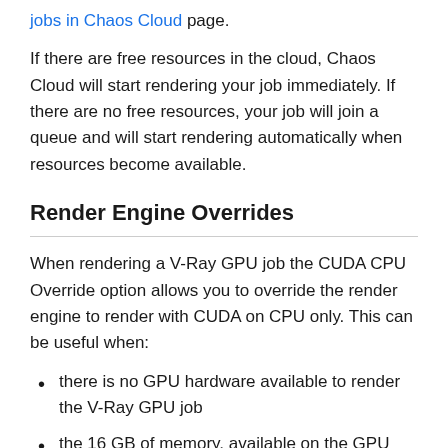jobs in Chaos Cloud page.
If there are free resources in the cloud, Chaos Cloud will start rendering your job immediately. If there are no free resources, your job will join a queue and will start rendering automatically when resources become available.
Render Engine Overrides
When rendering a V-Ray GPU job the CUDA CPU Override option allows you to override the render engine to render with CUDA on CPU only. This can be useful when:
there is no GPU hardware available to render the V-Ray GPU job
the 16 GB of memory, available on the GPU